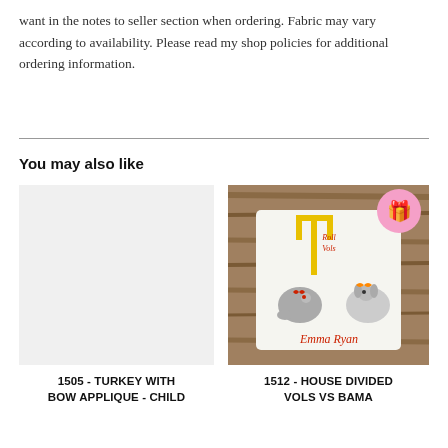want in the notes to seller section when ordering. Fabric may vary according to availability. Please read my shop policies for additional ordering information.
You may also like
[Figure (photo): Light gray placeholder image for product 1505]
1505 - TURKEY WITH BOW APPLIQUE - CHILD
[Figure (photo): Photo of an embroidered child's shirt with football goal post applique, two animal characters (elephant and dog), and the name 'Emma Ryan'. Text reads 'Roll Vols'. Pink gift badge circle in top right corner.]
1512 - HOUSE DIVIDED VOLS VS BAMA